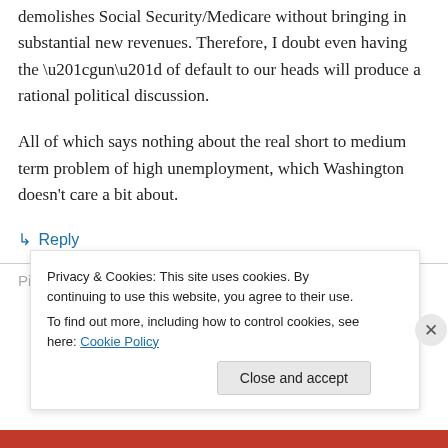demolishes Social Security/Medicare without bringing in substantial new revenues. Therefore, I doubt even having the “gun” of default to our heads will produce a rational political discussion.
All of which says nothing about the real short to medium term problem of high unemployment, which Washington doesn’t care a bit about.
↳ Reply
Pingback: The ugly face of the Entitled States of
Privacy & Cookies: This site uses cookies. By continuing to use this website, you agree to their use.
To find out more, including how to control cookies, see here: Cookie Policy